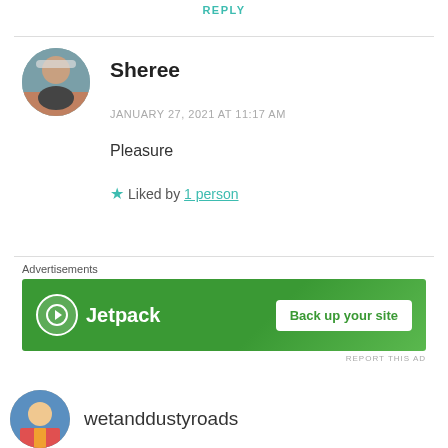REPLY
Sheree
JANUARY 27, 2021 AT 11:17 AM
Pleasure
★ Liked by 1 person
Advertisements
[Figure (screenshot): Jetpack advertisement banner with green background, Jetpack logo and 'Back up your site' button]
REPORT THIS AD
wetanddustyroads